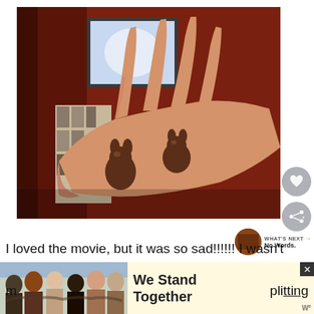[Figure (photo): A hand holding two small chocolate candy figures (animal shapes, likely bunnies/bears) with a blurred TV and room in the background.]
I loved the movie, but it was so sad!!!!!! I wasn't expecting the ending (even though I'm a history m... uplifting
[Figure (photo): Advertisement banner showing a group of people with arms around each other from behind, with text 'We Stand Together' and a small logo.]